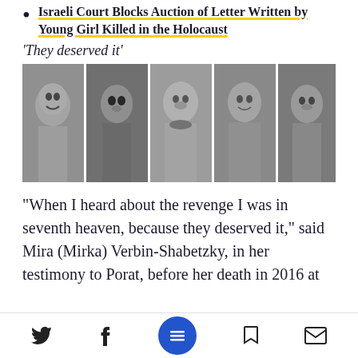Israeli Court Blocks Auction of Letter Written by Young Girl Killed in the Holocaust
‘They deserved it’
[Figure (photo): A strip of five black-and-white portrait photographs of Holocaust-era individuals]
“When I heard about the revenge I was in seventh heaven, because they deserved it,” said Mira (Mirka) Verbin-Shabetzky, in her testimony to Porat, before her death in 2016 at the age of 96. Anoth… her of her own…
Navigation bar with Twitter, Facebook, menu, bookmark, and email icons